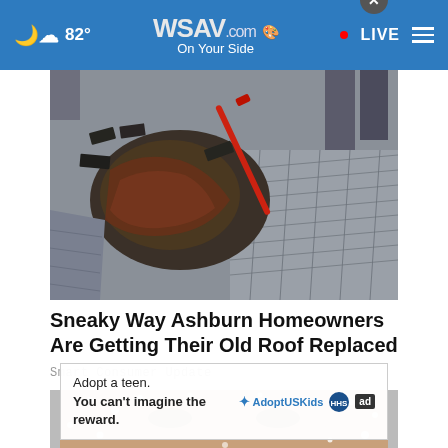WSAV.com On Your Side · 82° · LIVE
[Figure (photo): Aerial/close-up view of workers replacing old shingles on a residential roof]
Sneaky Way Ashburn Homeowners Are Getting Their Old Roof Replaced
Smart Consumer Update
[Figure (photo): Close-up of a person's face partially covered in white powder/flakes]
Adopt a teen. You can't imagine the reward. AdoptUSKids ad